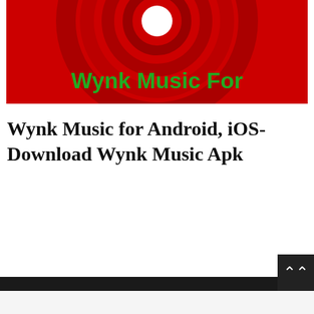[Figure (photo): Wynk Music app logo/banner — red background with concentric circles and green bold text 'Wynk Music For']
Wynk Music for Android, iOS-Download Wynk Music Apk
About The Author
[Figure (photo): Generic grey avatar/profile placeholder showing head and shoulders silhouette]
Edutechupdates Team